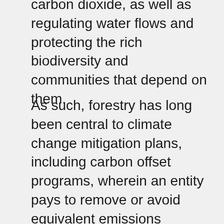carbon dioxide, as well as regulating water flows and protecting the rich biodiversity and communities that depend on them.
As such, forestry has long been central to climate change mitigation plans, including carbon offset programs, wherein an entity pays to remove or avoid equivalent emissions elsewhere that they would emit in their operations. Due to increased demand for these programs and a need for conservation finance tools, a new initiative called the Family Forest Carbon Program, created by the American Forest Foundation (AFF) and The Nature Conservancy, aims to maximize the climate mitigation